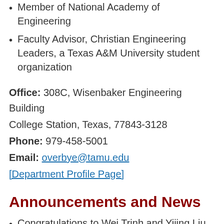Member of National Academy of Engineering
Faculty Advisor, Christian Engineering Leaders, a Texas A&M University student organization
Office: 308C, Wisenbaker Engineering Building College Station, Texas, 77843-3128
Phone: 979-458-5001
Email: overbye@tamu.edu
[Department Profile Page]
Announcements and News
Congratulations to Wei Trinh and Yijing Liu for passing their PhD defense. They both did an excellent job! Congratulations!